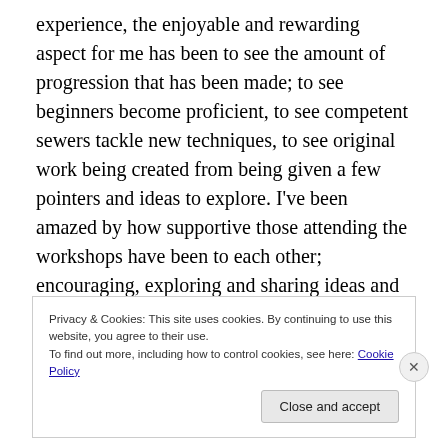experience, the enjoyable and rewarding aspect for me has been to see the amount of progression that has been made; to see beginners become proficient, to see competent sewers tackle new techniques, to see original work being created from being given a few pointers and ideas to explore. I've been amazed by how supportive those attending the workshops have been to each other; encouraging, exploring and sharing ideas and knowledge which have all served to create a great atmosphere in which  to work, create and socialise, not to mention sharing a great lunch!
Privacy & Cookies: This site uses cookies. By continuing to use this website, you agree to their use.
To find out more, including how to control cookies, see here: Cookie Policy
Close and accept